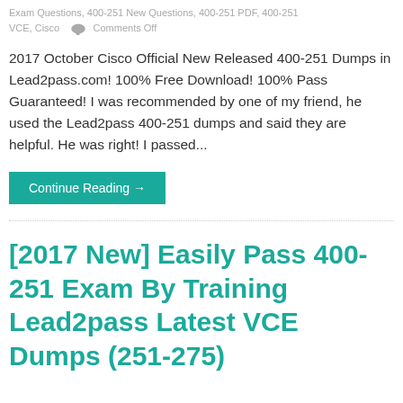Exam Questions, 400-251 New Questions, 400-251 PDF, 400-251 VCE, Cisco    Comments Off
2017 October Cisco Official New Released 400-251 Dumps in Lead2pass.com! 100% Free Download! 100% Pass Guaranteed! I was recommended by one of my friend, he used the Lead2pass 400-251 dumps and said they are helpful. He was right! I passed...
Continue Reading →
[2017 New] Easily Pass 400-251 Exam By Training Lead2pass Latest VCE Dumps (251-275)